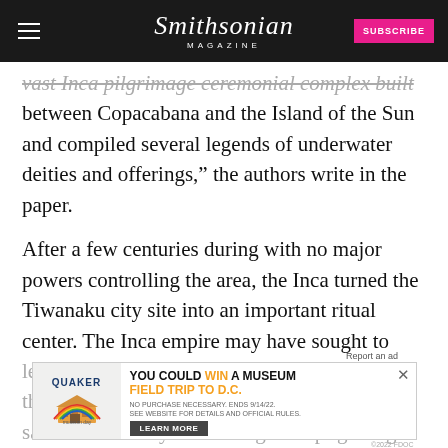Smithsonian MAGAZINE | SUBSCRIBE
vast Inca pilgrimage ceremonial complex built between Copacabana and the Island of the Sun and compiled several legends of underwater deities and offerings,” the authors write in the paper.
After a few centuries during with no major powers controlling the area, the Inca turned the Tiwanaku city site into an important ritual center. The Inca empire may have sought to legitimize its power by linking its legacy with the earlier civilization’s use of the same sites and by mimicking their pilgrimage
[Figure (screenshot): Advertisement banner: Quaker Museum Day promotion - 'YOU COULD WIN A MUSEUM FIELD TRIP TO D.C.' with Learn More button]